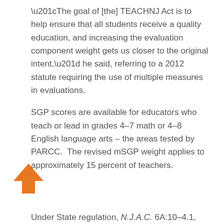“The goal of [the] TEACHNJ Act is to help ensure that all students receive a quality education, and increasing the evaluation component weight gets us closer to the original intent,” he said, referring to a 2012 statute requiring the use of multiple measures in evaluations.
SGP scores are available for educators who teach or lead in grades 4–7 math or 4–8 English language arts – the areas tested by PARCC.  The revised mSGP weight applies to approximately 15 percent of teachers.
Under State regulation, N.J.A.C. 6A:10-4.1,